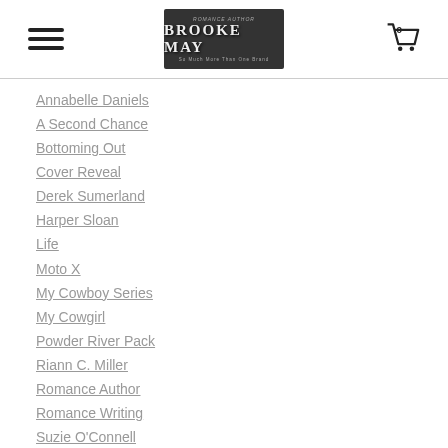Brooke May — Romance Author — So Much More Than One Brand
Annabelle Daniels
A Second Chance
Bottoming Out
Cover Reveal
Derek Sumerland
Harper Sloan
Life
Moto X
My Cowboy Series
My Cowgirl
Powder River Pack
Riann C. Miller
Romance Author
Romance Writing
Suzie O'Connell
Teaser Tuesday
T.M. Frazier
Weekly Reads